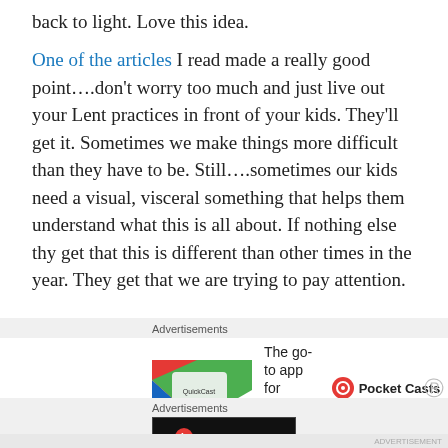back to light. Love this idea.
One of the articles I read made a really good point….don't worry too much and just live out your Lent practices in front of your kids. They'll get it. Sometimes we make things more difficult than they have to be. Still….sometimes our kids need a visual, visceral something that helps them understand what this is all about. If nothing else thy get that this is different than other times in the year. They get that we are trying to pay attention.
[Figure (screenshot): Advertisement banner for Pocket Casts - The go-to app for podcast lovers, showing app icon with colorful geometric shapes and Pocket Casts logo]
[Figure (screenshot): Advertisement banner for Longreads - black background with Longreads logo and tagline 'Read anything great lately?']
ADVERTISEMENT